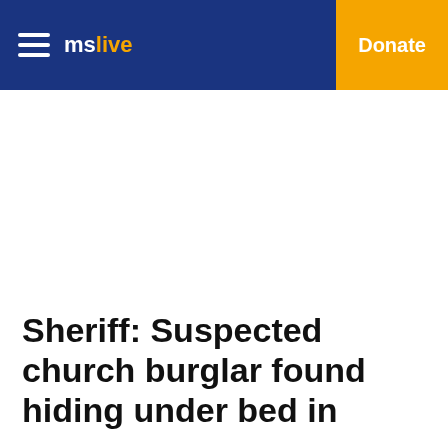mslive | Donate
Sheriff: Suspected church burglar found hiding under bed in